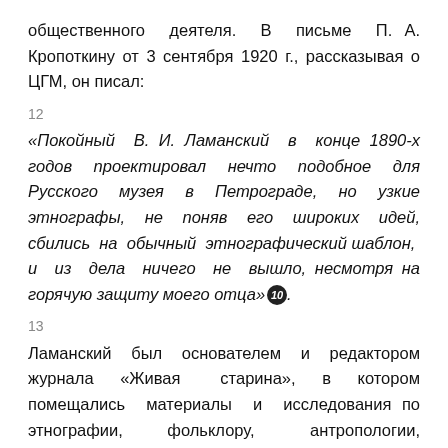общественного деятеля. В письме П. А. Кропоткину от 3 сентября 1920 г., рассказывая о ЦГМ, он писал:
12
«Покойный В. И. Ламанский в конце 1890-х годов проектировал нечто подобное для Русского музея в Петрограде, но узкие этнографы, не поняв его широких идей, сбились на обычный этнографический шаблон, и из дела ничего не вышло, несмотря на горячую защиту моего отца»10.
13
Ламанский был основателем и редактором журнала «Живая старина», в котором помещались материалы и исследования по этнографии, фольклору, антропологии, статистике и экономике народов России и на